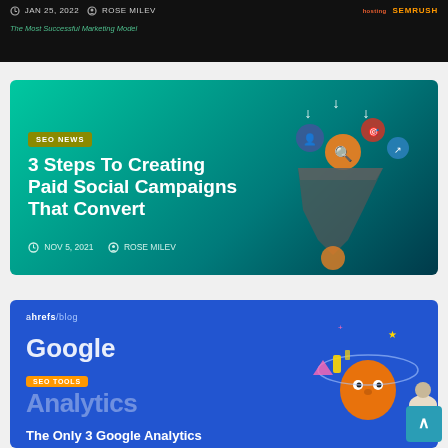[Figure (screenshot): Top partial blog card with dark background showing date JAN 25, 2022 and author ROSE MILEV, with hosting and SEMRUSH logos, subtitle 'The Most Successful Marketing Model']
[Figure (screenshot): Blog card with teal gradient background and funnel marketing illustration, SEO NEWS badge, title '3 Steps To Creating Paid Social Campaigns That Convert', date NOV 5, 2021, author ROSE MILEV]
[Figure (screenshot): Blog card with blue background, ahrefs/blog branding, Google Analytics text, SEO TOOLS badge, character illustration, title 'The Only 3 Google Analytics']